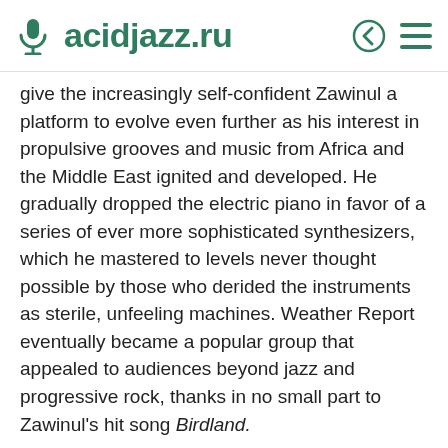acidjazz.ru
give the increasingly self-confident Zawinul a platform to evolve even further as his interest in propulsive grooves and music from Africa and the Middle East ignited and developed. He gradually dropped the electric piano in favor of a series of ever more sophisticated synthesizers, which he mastered to levels never thought possible by those who derided the instruments as sterile, unfeeling machines. Weather Report eventually became a popular group that appealed to audiences beyond jazz and progressive rock, thanks in no small part to Zawinul's hit song Birdland.
When Zawinul and Shorter finally came to a parting of ways in 1985, Zawinul started to...